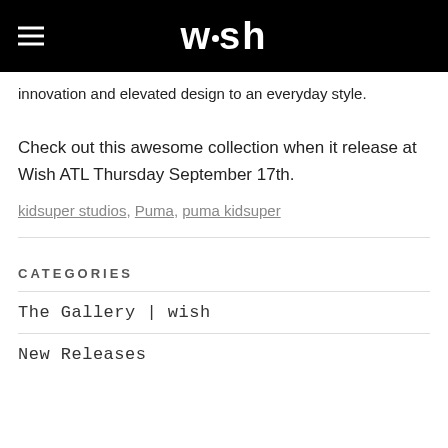wish
innovation and elevated design to an everyday style.
Check out this awesome collection when it release at Wish ATL Thursday September 17th.
kidsuper studios, Puma, puma kidsuper
CATEGORIES
The Gallery | wish
New Releases